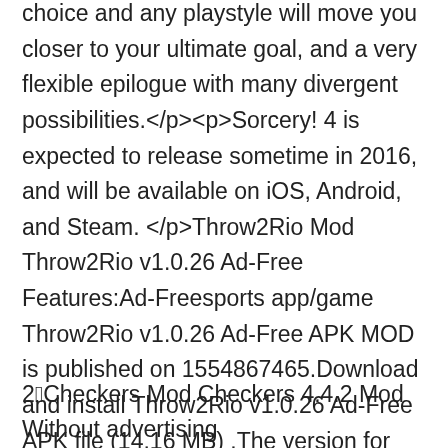choice and any playstyle will move you closer to your ultimate goal, and a very flexible epilogue with many divergent possibilities.</p><p>Sorcery! 4 is expected to release sometime in 2016, and will be available on iOS, Android, and Steam. </p>Throw2Rio Mod Throw2Rio v1.0.26 Ad-Free Features:Ad-Freesports app/game Throw2Rio v1.0.26 Ad-Free APK MOD is published on 1554867465.Download and install Throw2Rio v1.0.26 Ad-Free APK file (14.16 MB) .The version for Throw2Rio v1.0.26 Ad-Free is 1.0.26. Over 35 users have download this mod. They rate a 4 of 5 about this Mod. To install Throw2Rio v1.0.26 Ad-Free APK file. You android device version should be at least Android 4.1–4.1.11 (JELLY_BEAN) .Throw2Rio v1.0.26 Ad-Free APK works very well on 44 users's device. The size about Throw2Rio v1.0.26 Ad-Free APK is 14.16 MB.You can download Throw2Rio v1.0.26 Ad-Free APK to get unlimited money and win easily
2⃣Checkers Mod Checkers 4.4.2 Mod Without advertising